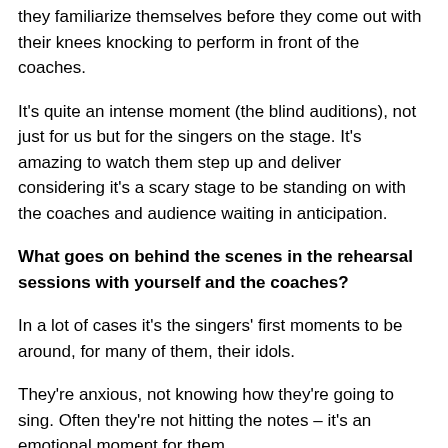they familiarize themselves before they come out with their knees knocking to perform in front of the coaches.
It's quite an intense moment (the blind auditions), not just for us but for the singers on the stage. It's amazing to watch them step up and deliver considering it's a scary stage to be standing on with the coaches and audience waiting in anticipation.
What goes on behind the scenes in the rehearsal sessions with yourself and the coaches?
In a lot of cases it's the singers' first moments to be around, for many of them, their idols.
They're anxious, not knowing how they're going to sing. Often they're not hitting the notes – it's an emotional moment for them.